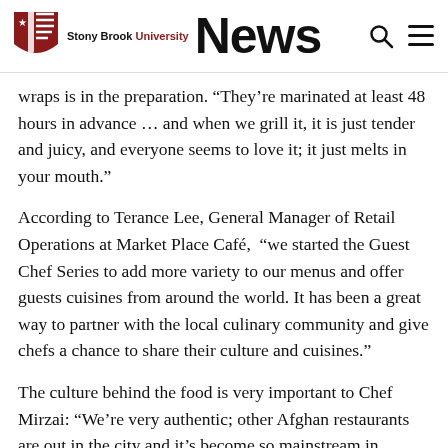Stony Brook University News
wraps is in the preparation. “They’re marinated at least 48 hours in advance … and when we grill it, it is just tender and juicy, and everyone seems to love it; it just melts in your mouth.”
According to Terance Lee, General Manager of Retail Operations at Market Place Café, “we started the Guest Chef Series to add more variety to our menus and offer guests cuisines from around the world. It has been a great way to partner with the local culinary community and give chefs a chance to share their culture and cuisines.”
The culture behind the food is very important to Chef Mirzai: “We’re very authentic; other Afghan restaurants are out in the city and it’s become so mainstream in Manhattan that it’s generic, so we try to keep the authentic Afghan…”